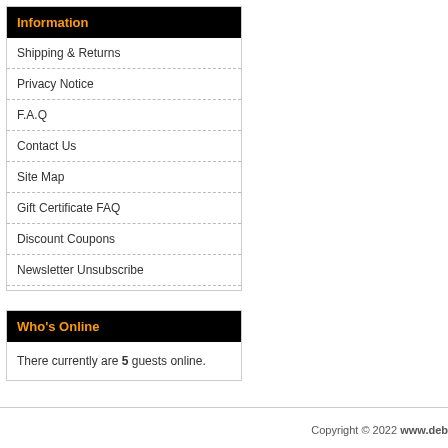Information
Shipping & Returns
Privacy Notice
F.A.Q
Contact Us
Site Map
Gift Certificate FAQ
Discount Coupons
Newsletter Unsubscribe
Who's Online
There currently are 5 guests online.
Copyright © 2022 www.deb